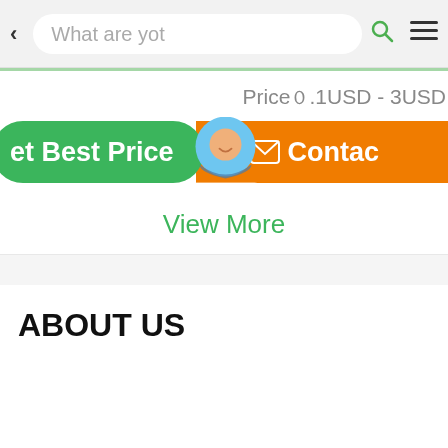[Figure (screenshot): Mobile app top navigation bar with back arrow, search box showing 'What are you', search icon, and hamburger menu icon]
Priceÿ0.1USD - 3USD
[Figure (infographic): Two action buttons: green 'Get Best Price' button on left, orange 'Contact' button on right, with a chat bubble widget overlay in the center showing a chat avatar and 'Chat Now' label]
View More
ABOUT US